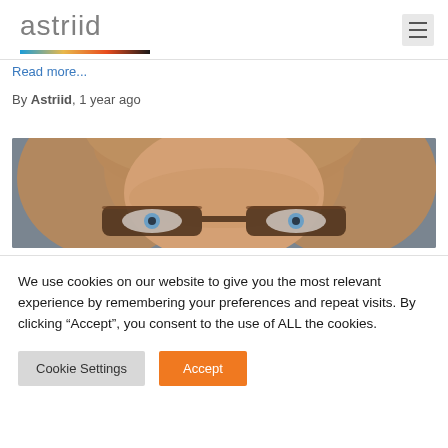astriid
Read more...
By Astriid, 1 year ago
[Figure (photo): Close-up photo of a blonde woman with blue eyes wearing dark-framed tortoiseshell glasses, cropped at forehead and nose level, against a grey background.]
We use cookies on our website to give you the most relevant experience by remembering your preferences and repeat visits. By clicking “Accept”, you consent to the use of ALL the cookies.